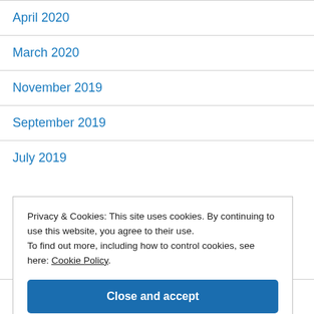April 2020
March 2020
November 2019
September 2019
July 2019
Privacy & Cookies: This site uses cookies. By continuing to use this website, you agree to their use.
To find out more, including how to control cookies, see here: Cookie Policy
July 2018